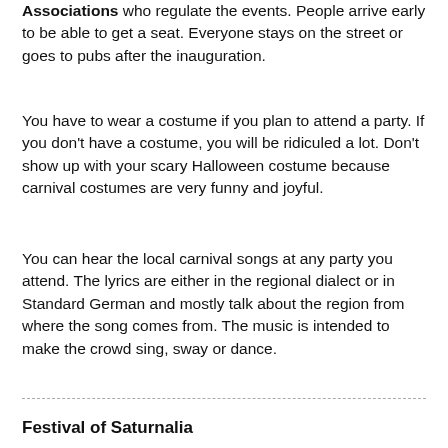Associations who regulate the events. People arrive early to be able to get a seat. Everyone stays on the street or goes to pubs after the inauguration.
You have to wear a costume if you plan to attend a party. If you don't have a costume, you will be ridiculed a lot. Don't show up with your scary Halloween costume because carnival costumes are very funny and joyful.
You can hear the local carnival songs at any party you attend. The lyrics are either in the regional dialect or in Standard German and mostly talk about the region from where the song comes from. The music is intended to make the crowd sing, sway or dance.
Festival of Saturnalia